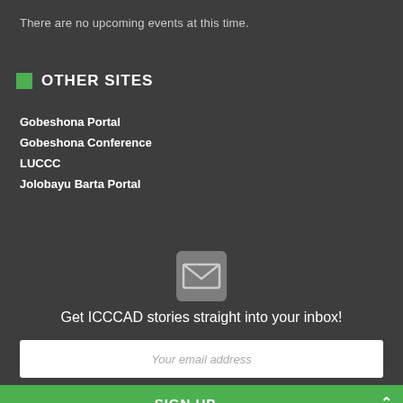There are no upcoming events at this time.
OTHER SITES
Gobeshona Portal
Gobeshona Conference
LUCCC
Jolobayu Barta Portal
[Figure (illustration): Envelope/email icon in grey square with rounded corners]
Get ICCCAD stories straight into your inbox!
Your email address
SIGN UP